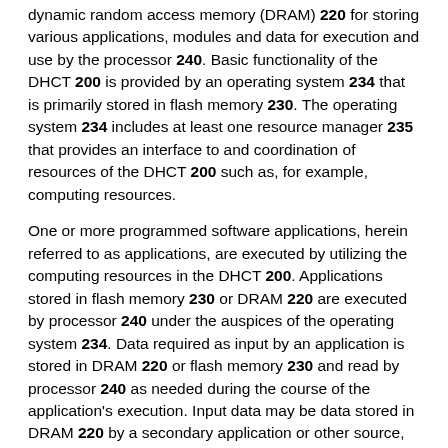dynamic random access memory (DRAM) 220 for storing various applications, modules and data for execution and use by the processor 240. Basic functionality of the DHCT 200 is provided by an operating system 234 that is primarily stored in flash memory 230. The operating system 234 includes at least one resource manager 235 that provides an interface to and coordination of resources of the DHCT 200 such as, for example, computing resources.
One or more programmed software applications, herein referred to as applications, are executed by utilizing the computing resources in the DHCT 200. Applications stored in flash memory 230 or DRAM 220 are executed by processor 240 under the auspices of the operating system 234. Data required as input by an application is stored in DRAM 220 or flash memory 230 and read by processor 240 as needed during the course of the application's execution. Input data may be data stored in DRAM 220 by a secondary application or other source, either internal or external to the DHCT 200, or possibly anticipated by the application and thus created with the application at the time it was generated as a software application, in which case it is stored in flash memory 230. Data generated by an application is stored in DRAM 220 by processor 240 during